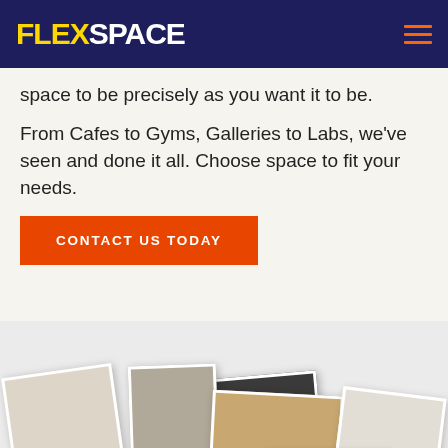FLEXSPACE
space to be precisely as you want it to be.
From Cafes to Gyms, Galleries to Labs, we've seen and done it all. Choose space to fit your needs.
CONTACT US TODAY
[Figure (photo): Photo collage of various spaces and people]
Privacy & Cookies